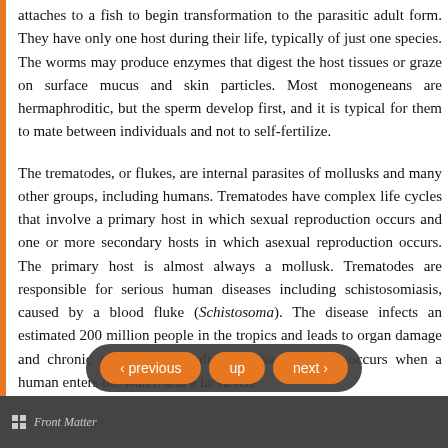attaches to a fish to begin transformation to the parasitic adult form. They have only one host during their life, typically of just one species. The worms may produce enzymes that digest the host tissues or graze on surface mucus and skin particles. Most monogeneans are hermaphroditic, but the sperm develop first, and it is typical for them to mate between individuals and not to self-fertilize.
The trematodes, or flukes, are internal parasites of mollusks and many other groups, including humans. Trematodes have complex life cycles that involve a primary host in which sexual reproduction occurs and one or more secondary hosts in which asexual reproduction occurs. The primary host is almost always a mollusk. Trematodes are responsible for serious human diseases including schistosomiasis, caused by a blood fluke (Schistosoma). The disease infects an estimated 200 million people in the tropics and leads to organ damage and chronic symptoms including fatigue. Infection occurs when a human enters the water, and a larva rele... pa...
Front Matter